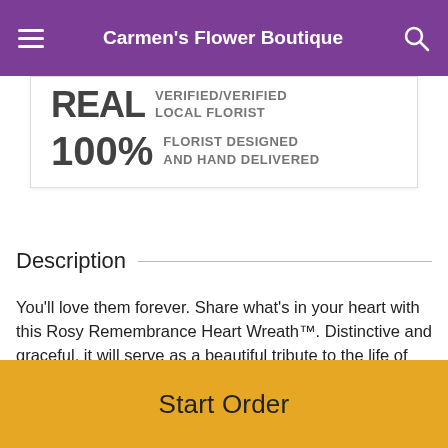Carmen's Flower Boutique
[Figure (infographic): Info box with two rows: 'REAL VERIFIED/VERIFIED LOCAL FLORIST' and '100% FLORIST DESIGNED AND HAND DELIVERED']
Description
You'll love them forever. Share what's in your heart with this Rosy Remembrance Heart Wreath™. Distinctive and graceful, it will serve as a beautiful tribute to the life of your loved one.
Red roses, white lilies, white daisies, and red carnations